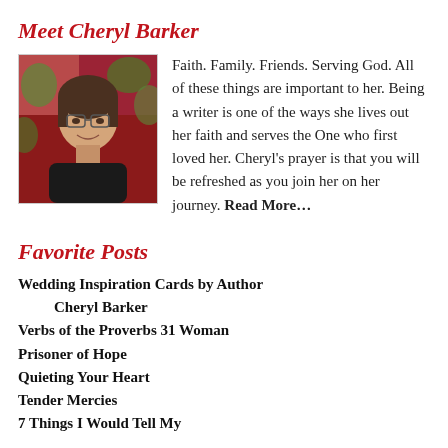Meet Cheryl Barker
[Figure (photo): Headshot photo of Cheryl Barker, a woman smiling, with colorful background foliage]
Faith. Family. Friends. Serving God. All of these things are important to her. Being a writer is one of the ways she lives out her faith and serves the One who first loved her. Cheryl's prayer is that you will be refreshed as you join her on her journey. Read More…
Favorite Posts
Wedding Inspiration Cards by Author
Cheryl Barker
Verbs of the Proverbs 31 Woman
Prisoner of Hope
Quieting Your Heart
Tender Mercies
7 Things I Would Tell My